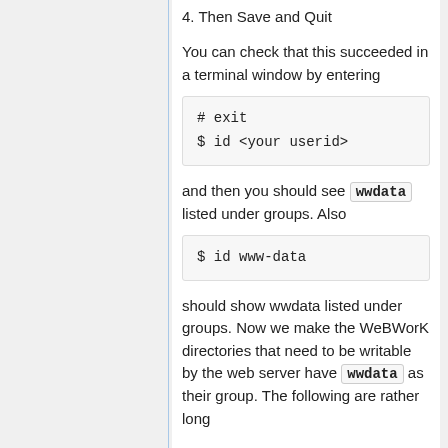4. Then Save and Quit
You can check that this succeeded in a terminal window by entering
# exit
$ id <your userid>
and then you should see wwdata listed under groups. Also
$ id www-data
should show wwdata listed under groups. Now we make the WeBWorK directories that need to be writable by the web server have wwdata as their group. The following are rather long